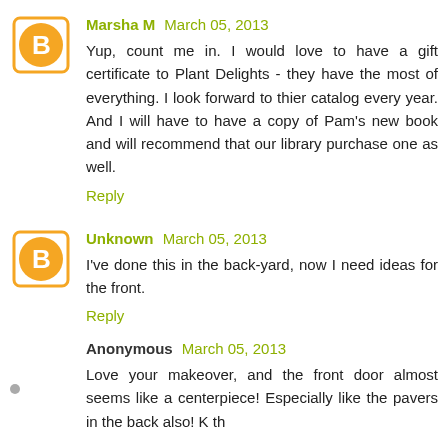[Figure (other): Blogger user avatar icon for Marsha M - orange circle with white B letter]
Marsha M March 05, 2013
Yup, count me in. I would love to have a gift certificate to Plant Delights - they have the most of everything. I look forward to thier catalog every year. And I will have to have a copy of Pam's new book and will recommend that our library purchase one as well.
Reply
[Figure (other): Blogger user avatar icon for Unknown - orange circle with white B letter]
Unknown March 05, 2013
I've done this in the back-yard, now I need ideas for the front.
Reply
Anonymous March 05, 2013
Love your makeover, and the front door almost seems like a centerpiece! Especially like the pavers in the back also! K th